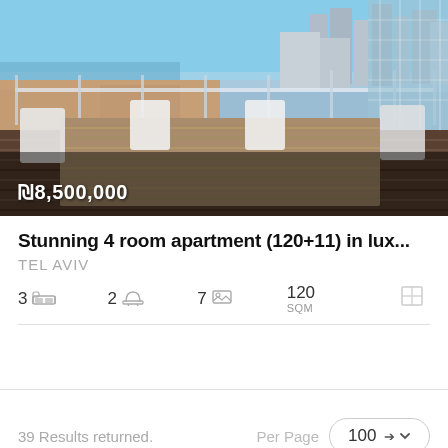[Figure (photo): Rooftop terrace with wooden table and chairs, glass railing, city skyline and sea view in background, Tel Aviv]
₪8,500,000
Stunning 4 room apartment (120+11) in lux...
TEL AVIV
3 [bed icon]   2 [bath icon]   7 [photo icon]   120 SQM [floor plan icon]
39 Results returned.
Per Page  100 ▾